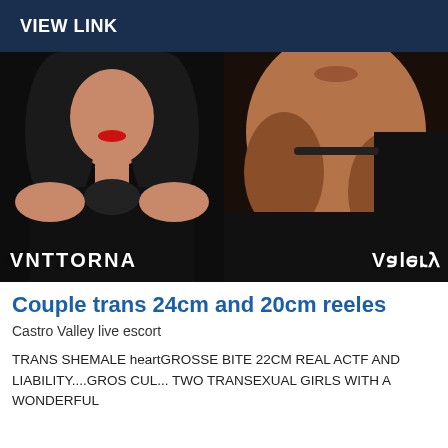VIEW LINK
[Figure (photo): Two side-by-side photos of trans escorts named Vittoria (left, woman in black top with red lipstick and dark hair) and Valery (right, close-up of neck/chest area with choker). Mirrored watermark text on each photo.]
Couple trans 24cm and 20cm reeles
Castro Valley live escort
TRANS SHEMALE heartGROSSE BITE 22CM REAL ACTF AND LIABILITY....GROS CUL... TWO TRANSEXUAL GIRLS WITH A WONDERFUL